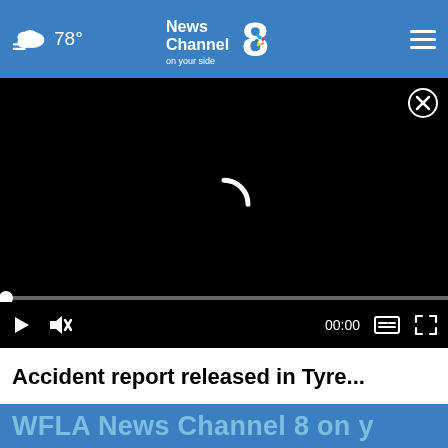78° News Channel 8 on your side
[Figure (screenshot): Video player with black background showing loading spinner, progress bar at start, playback controls (play, mute, time 00:00, captions, fullscreen), and a close button in upper right.]
Accident report released in Tyre...
WFLA News Channel 8 on your side